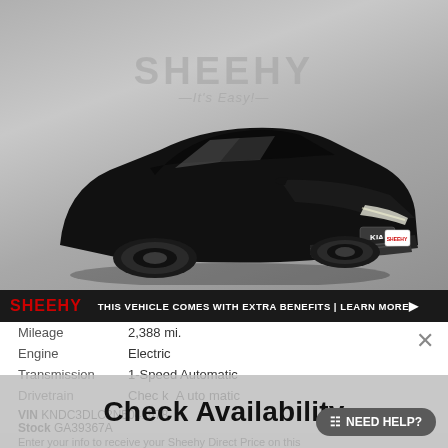[Figure (photo): Black Kia electric vehicle (EV6 or similar) photographed from a front 3/4 angle on a gray studio background with Sheehy dealership watermark]
THIS VEHICLE COMES WITH EXTRA BENEFITS | LEARN MORE ▶
| Mileage | 2,388 mi. |
| Engine | Electric |
| Transmission | 1-Speed Automatic |
| Drivetrain | Ch eck Availability |
Check Availability
VIN KNDC3DLC2N5041578
Stock GA39367A
NEED HELP?
Enter your info to receive your Sheehy Direct Price on this